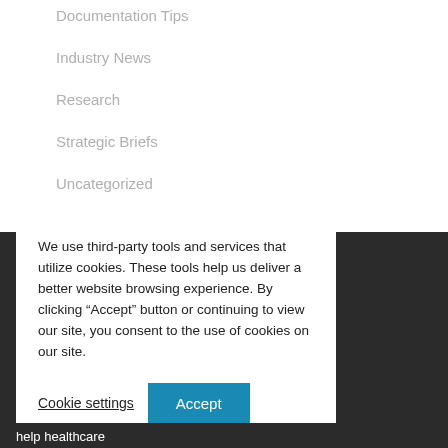Documentation Tips
Industry News
Research
Strategic Briefs
Uncategorized
We use third-party tools and services that utilize cookies. These tools help us deliver a better website browsing experience. By clicking “Accept” button or continuing to view our site, you consent to the use of cookies on our site.
Cookie settings  Accept
help healthcare